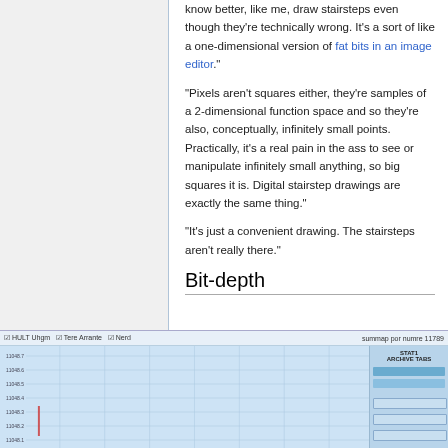know better, like me, draw stairsteps even though they're technically wrong. It's a sort of like a one-dimensional version of fat bits in an image editor."
"Pixels aren't squares either, they're samples of a 2-dimensional function space and so they're also, conceptually, infinitely small points. Practically, it's a real pain in the ass to see or manipulate infinitely small anything, so big squares it is. Digital stairstep drawings are exactly the same thing."
"It's just a convenient drawing. The stairsteps aren't really there."
Bit-depth
[Figure (screenshot): Screenshot of a software application showing a waveform/signal analysis tool with a graph area displaying gridlines and a small red spike, alongside a sidebar panel with controls and buttons.]